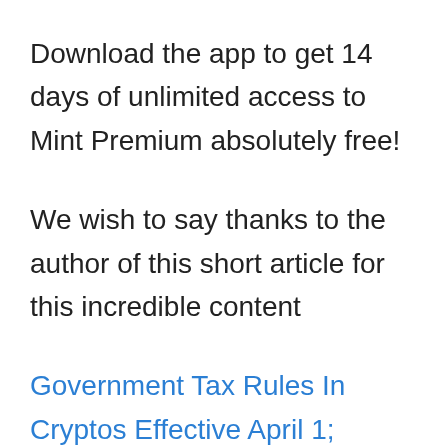Download the app to get 14 days of unlimited access to Mint Premium absolutely free!
We wish to say thanks to the author of this short article for this incredible content
Government Tax Rules In Cryptos Effective April 1; Should You Sell Your Crypto Assets Before March 31 t...